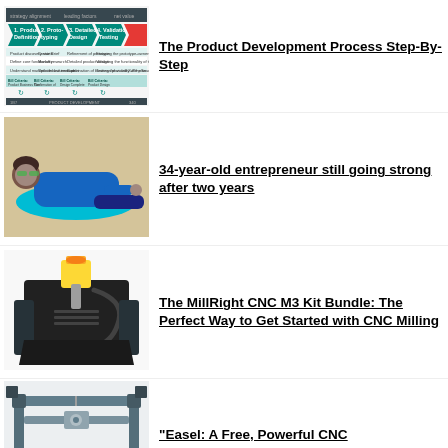[Figure (infographic): Product Development Process Step-By-Step diagram showing stages: Product Definition, Prototyping, Detailed Design, Validation/Testing]
The Product Development Process Step-By-Step
[Figure (photo): A 34-year-old entrepreneur lying on a blue inflatable mat on sand, smiling, wearing a blue jacket and jeans]
34-year-old entrepreneur still going strong after two years
[Figure (photo): MillRight CNC M3 machine, showing black metal frame with yellow motor on top]
The MillRight CNC M3 Kit Bundle: The Perfect Way to Get Started with CNC Milling
[Figure (photo): CNC machine, Easel software related image showing machine frame]
"Easel: A Free, Powerful CNC